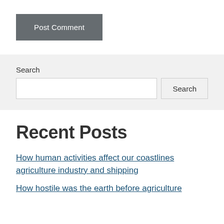Post Comment
Search
Recent Posts
How human activities affect our coastlines agriculture industry and shipping
How hostile was the earth before agriculture